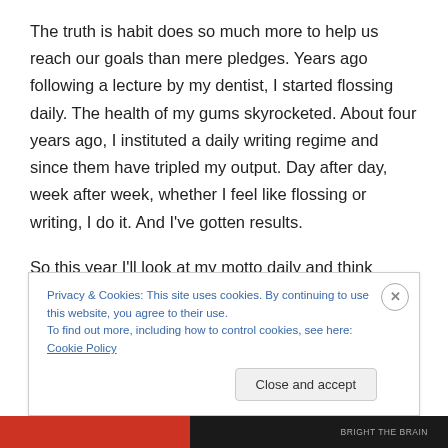The truth is habit does so much more to help us reach our goals than mere pledges. Years ago following a lecture by my dentist, I started flossing daily. The health of my gums skyrocketed. About four years ago, I instituted a daily writing regime and since them have tripled my output. Day after day, week after week, whether I feel like flossing or writing, I do it. And I've gotten results.
So this year I'll look at my motto daily and think about changing my life. But I don't have out-sized expectations.
Privacy & Cookies: This site uses cookies. By continuing to use this website, you agree to their use.
To find out more, including how to control cookies, see here: Cookie Policy